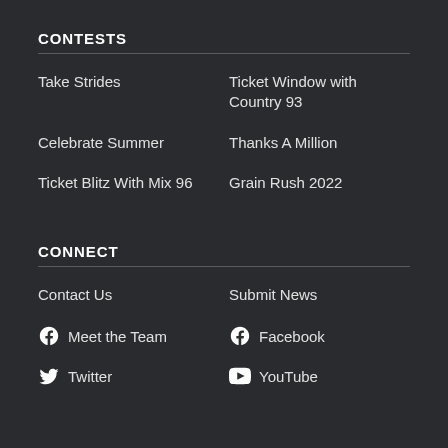CONTESTS
Take Strides
Ticket Window with Country 93
Celebrate Summer
Thanks A Million
Ticket Blitz With Mix 96
Grain Rush 2022
CONNECT
Contact Us
Submit News
Meet the Team
Facebook
Twitter
YouTube